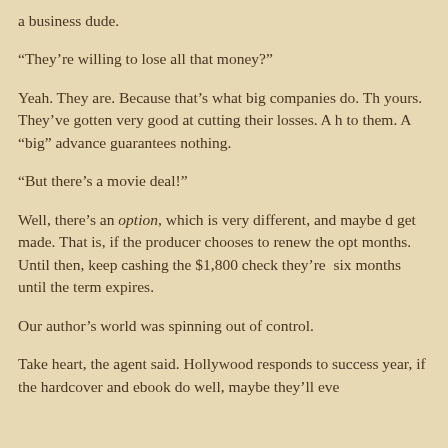a business dude.
“They’re willing to lose all that money?”
Yeah. They are. Because that’s what big companies do. Th… yours. They’ve gotten very good at cutting their losses. A h… to them. A “big” advance guarantees nothing.
“But there’s a movie deal!”
Well, there’s an option, which is very different, and maybe… get made. That is, if the producer chooses to renew the opt… months. Until then, keep cashing the $1,800 check they’re… six months until the term expires.
Our author’s world was spinning out of control.
Take heart, the agent said. Hollywood responds to success… year, if the hardcover and ebook do well, maybe they’ll eve…